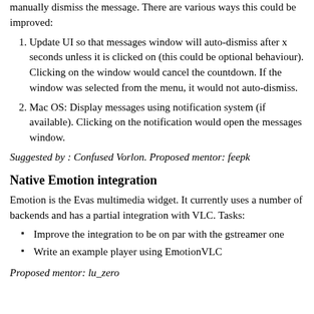manually dismiss the message. There are various ways this could be improved:
Update UI so that messages window will auto-dismiss after x seconds unless it is clicked on (this could be optional behaviour). Clicking on the window would cancel the countdown. If the window was selected from the menu, it would not auto-dismiss.
Mac OS: Display messages using notification system (if available). Clicking on the notification would open the messages window.
Suggested by : Confused Vorlon. Proposed mentor: feepk
Native Emotion integration
Emotion is the Evas multimedia widget. It currently uses a number of backends and has a partial integration with VLC. Tasks:
Improve the integration to be on par with the gstreamer one
Write an example player using EmotionVLC
Proposed mentor: lu_zero